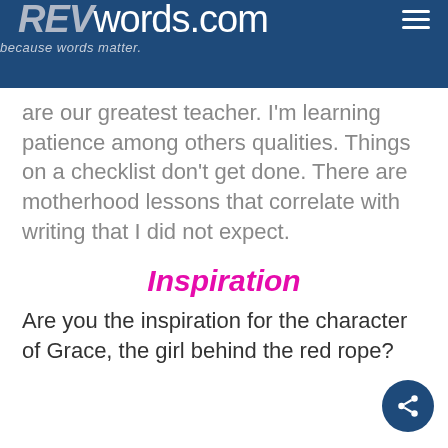REVwords.com — because words matter.
are our greatest teacher. I'm learning patience among others qualities. Things on a checklist don't get done. There are motherhood lessons that correlate with writing that I did not expect.
Inspiration
Are you the inspiration for the character of Grace, the girl behind the red rope?